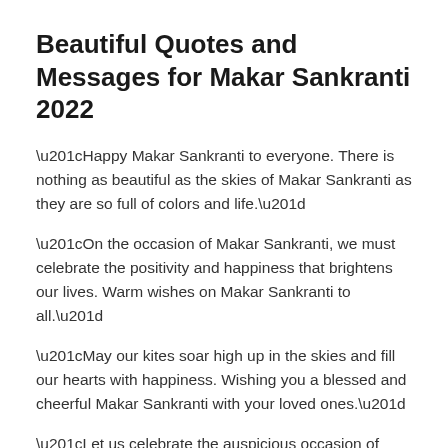Beautiful Quotes and Messages for Makar Sankranti 2022
“Happy Makar Sankranti to everyone. There is nothing as beautiful as the skies of Makar Sankranti as they are so full of colors and life.”
“On the occasion of Makar Sankranti, we must celebrate the positivity and happiness that brightens our lives. Warm wishes on Makar Sankranti to all.”
“May our kites soar high up in the skies and fill our hearts with happiness. Wishing you a blessed and cheerful Makar Sankranti with your loved ones.”
“Let us celebrate the auspicious occasion of Makar Sankranti by thanking Sun God for the blessings he showers us in form of sunlight. Happy Makar Sankranti.”